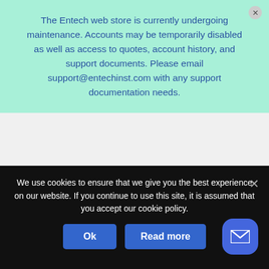The Entech web store is currently undergoing maintenance. Accounts may be temporarily disabled as well as access to quotes, account history, and support documents. Please email support@entechinst.com with any support documentation needs.
become compromised.
7200A
Preconcentrator
We use cookies to ensure that we give you the best experience on our website. If you continue to use this site, it is assumed that you accept our cookie policy.